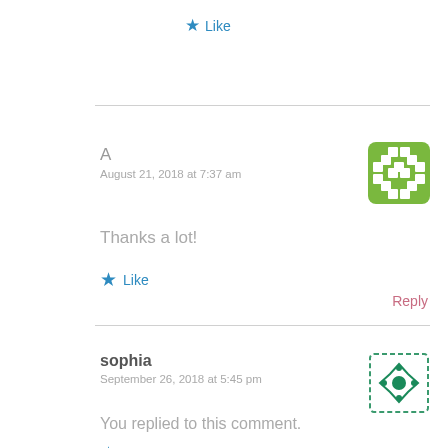★ Like
A
August 21, 2018 at 7:37 am
Thanks a lot!
★ Like
Reply
sophia
September 26, 2018 at 5:45 pm
You replied to this comment.
★ Like